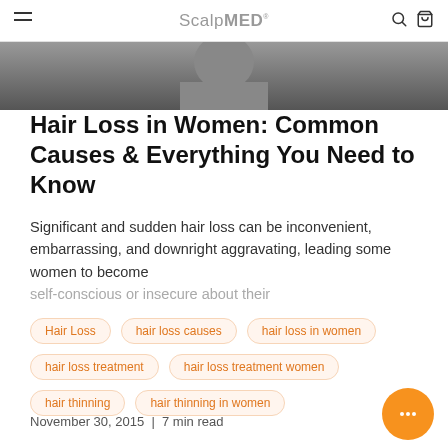ScalpMED
[Figure (photo): Black and white photo at top of article, partially visible]
Hair Loss in Women: Common Causes & Everything You Need to Know
Significant and sudden hair loss can be inconvenient, embarrassing, and downright aggravating, leading some women to become self-conscious or insecure about their
Hair Loss
hair loss causes
hair loss in women
hair loss treatment
hair loss treatment women
hair thinning
hair thinning in women
November 30, 2015  |  7 min read